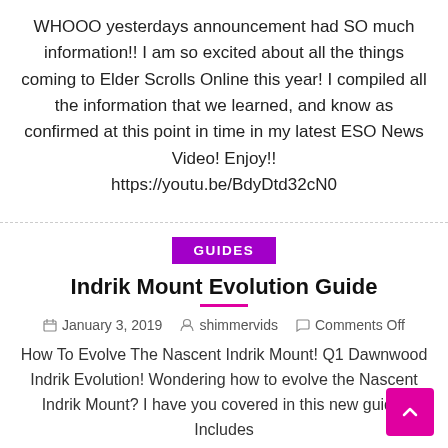WHOOO yesterdays announcement had SO much information!! I am so excited about all the things coming to Elder Scrolls Online this year! I compiled all the information that we learned, and know as confirmed at this point in time in my latest ESO News Video! Enjoy!! https://youtu.be/BdyDtd32cN0
GUIDES
Indrik Mount Evolution Guide
January 3, 2019   shimmervids   Comments Off
How To Evolve The Nascent Indrik Mount! Q1 Dawnwood Indrik Evolution! Wondering how to evolve the Nascent Indrik Mount? I have you covered in this new guide! Includes